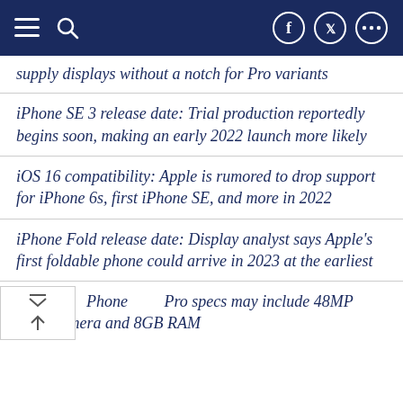Navigation bar with menu, search, Facebook, Twitter, and more icons
supply displays without a notch for Pro variants
iPhone SE 3 release date: Trial production reportedly begins soon, making an early 2022 launch more likely
iOS 16 compatibility: Apple is rumored to drop support for iPhone 6s, first iPhone SE, and more in 2022
iPhone Fold release date: Display analyst says Apple's first foldable phone could arrive in 2023 at the earliest
iPhone 14 Pro specs may include 48MP main camera and 8GB RAM